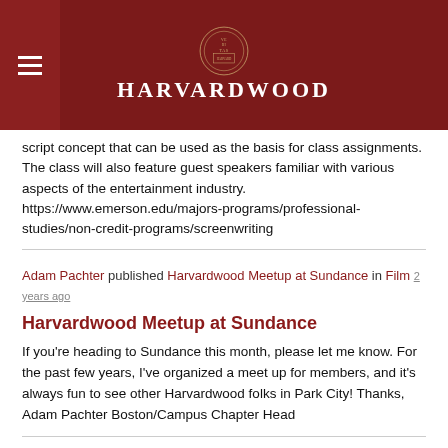HARVARDWOOD
script concept that can be used as the basis for class assignments. The class will also feature guest speakers familiar with various aspects of the entertainment industry. https://www.emerson.edu/majors-programs/professional-studies/non-credit-programs/screenwriting
Adam Pachter published Harvardwood Meetup at Sundance in Film 2 years ago
Harvardwood Meetup at Sundance
If you're heading to Sundance this month, please let me know. For the past few years, I've organized a meet up for members, and it's always fun to see other Harvardwood folks in Park City! Thanks, Adam Pachter Boston/Campus Chapter Head
Adam Pachter published Harvardwood at Sundance in Film 3